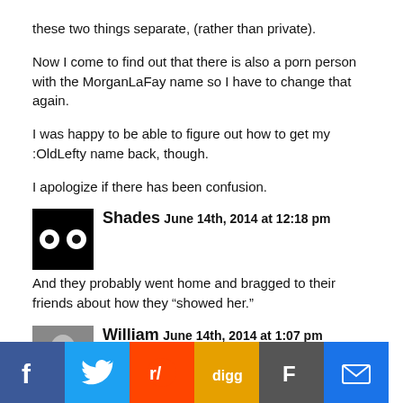these two things separate, (rather than private).
Now I come to find out that there is also a porn person with the MorganLaFay name so I have to change that again.
I was happy to be able to figure out how to get my :OldLefty name back, though.
I apologize if there has been confusion.
Shades June 14th, 2014 at 12:18 pm — And they probably went home and bragged to their friends about how they “showed her.”
William June 14th, 2014 at 1:07 pm — Knows Texans mocking a Muslim woman because of what she